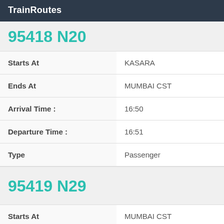TrainRoutes
95418 N20
| Field | Value |
| --- | --- |
| Starts At | KASARA |
| Ends At | MUMBAI CST |
| Arrival Time : | 16:50 |
| Departure Time : | 16:51 |
| Type | Passenger |
95419 N29
| Field | Value |
| --- | --- |
| Starts At | MUMBAI CST |
| Ends At | KASARA |